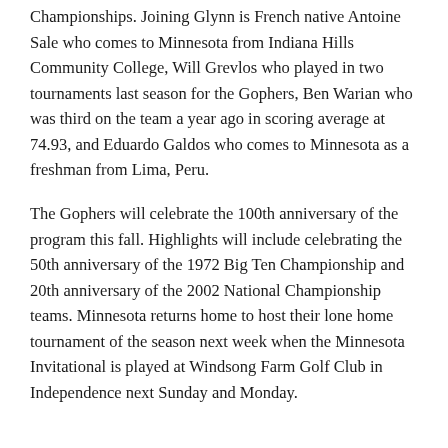Championships. Joining Glynn is French native Antoine Sale who comes to Minnesota from Indiana Hills Community College, Will Grevlos who played in two tournaments last season for the Gophers, Ben Warian who was third on the team a year ago in scoring average at 74.93, and Eduardo Galdos who comes to Minnesota as a freshman from Lima, Peru.
The Gophers will celebrate the 100th anniversary of the program this fall. Highlights will include celebrating the 50th anniversary of the 1972 Big Ten Championship and 20th anniversary of the 2002 National Championship teams. Minnesota returns home to host their lone home tournament of the season next week when the Minnesota Invitational is played at Windsong Farm Golf Club in Independence next Sunday and Monday.